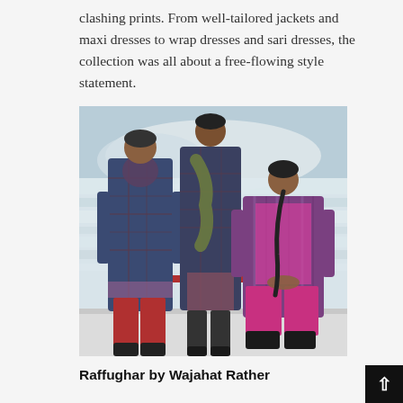clashing prints. From well-tailored jackets and maxi dresses to wrap dresses and sari dresses, the collection was all about a free-flowing style statement.
[Figure (photo): Three models in South Asian fashion wear standing and sitting in front of a landscape backdrop. Two models on the left wear plaid/checked long coats with scarves over layered outfits in blue and red tones. The model on the right sits wearing a purple striped jacket over a bright pink salwar kameez.]
Raffughar by Wajahat Rather